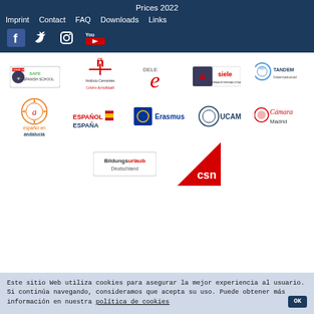Prices 2022
Imprint   Contact   FAQ   Downloads   Links
[Figure (logo): Social media icons: Facebook, Twitter, Instagram, YouTube on dark blue header bar]
[Figure (logo): COVID-19 Safe Spanish School logo]
[Figure (logo): Instituto Cervantes Centro Acreditado logo]
[Figure (logo): DELE e logo (red e on white)]
[Figure (logo): SIELE logo with text]
[Figure (logo): TANDEM International logo]
[Figure (logo): Español en Andalucía logo]
[Figure (logo): EspañolEnEspaña logo]
[Figure (logo): Erasmus+ logo]
[Figure (logo): UCAM logo]
[Figure (logo): Cámara Madrid logo]
[Figure (logo): Bildungsurlaub Deutschland logo]
[Figure (logo): CSN red triangle logo]
Este sitio Web utiliza cookies para asegurar la mejor experiencia al usuario. Si continúa navegando, consideramos que acepta su uso. Puede obtener más información en nuestra política de cookies   OK